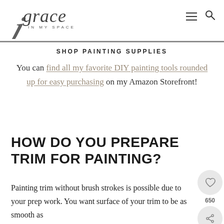grace IN MY SPACE
SHOP PAINTING SUPPLIES
You can find all my favorite DIY painting tools rounded up for easy purchasing on my Amazon Storefront!
HOW DO YOU PREPARE TRIM FOR PAINTING?
Painting trim without brush strokes is possible due to your prep work. You want surface of your trim to be as smooth as